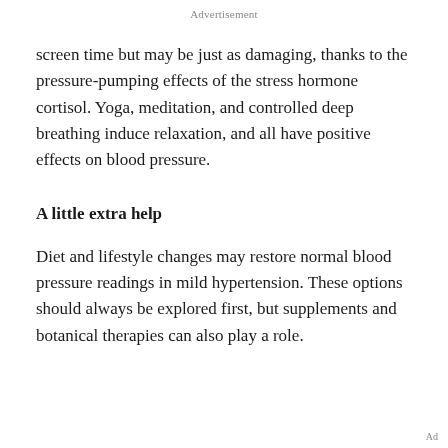Advertisement
screen time but may be just as damaging, thanks to the pressure-pumping effects of the stress hormone cortisol. Yoga, meditation, and controlled deep breathing induce relaxation, and all have positive effects on blood pressure.
A little extra help
Diet and lifestyle changes may restore normal blood pressure readings in mild hypertension. These options should always be explored first, but supplements and botanical therapies can also play a role.
Ad